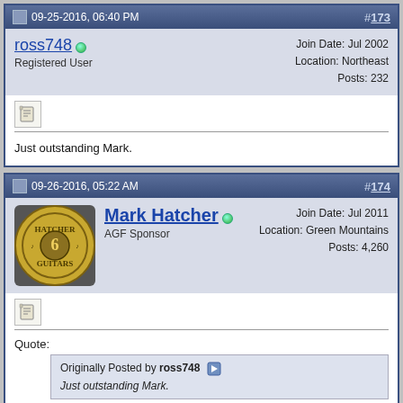09-25-2016, 06:40 PM  #173
ross748
Registered User
Join Date: Jul 2002
Location: Northeast
Posts: 232
Just outstanding Mark.
09-26-2016, 05:22 AM  #174
Mark Hatcher
AGF Sponsor
Join Date: Jul 2011
Location: Green Mountains
Posts: 4,260
Quote:
Originally Posted by ross748
Just outstanding Mark.
Thanks ross748!

Mark

Mark Hatcher
www.hatcherguitars.com